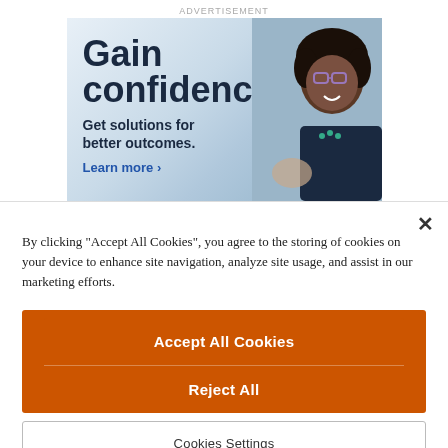ADVERTISEMENT
[Figure (illustration): Advertisement banner with text 'Gain confidence. Get solutions for better outcomes. Learn more >' overlaid on a light blue background with a photo of a smiling woman with glasses and natural hair.]
By clicking "Accept All Cookies", you agree to the storing of cookies on your device to enhance site navigation, analyze site usage, and assist in our marketing efforts.
Accept All Cookies
Reject All
Cookies Settings